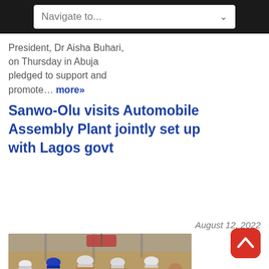Navigate to...
President, Dr Aisha Buhari, on Thursday in Abuja pledged to support and promote… more»
Sanwo-Olu visits Automobile Assembly Plant jointly set up with Lagos govt
August 12, 2022
...
[Figure (photo): Group of people wearing hard hats and yellow safety vests at an automobile assembly plant construction site.]